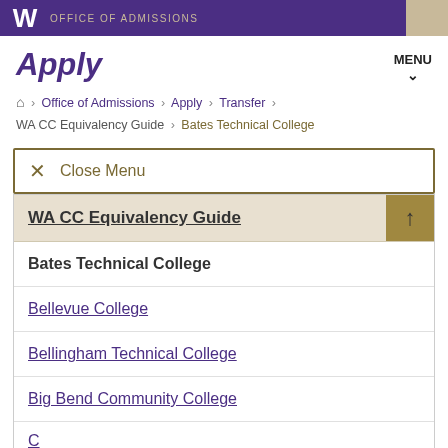OFFICE OF ADMISSIONS
Apply
MENU
Home > Office of Admissions > Apply > Transfer > WA CC Equivalency Guide > Bates Technical College
X Close Menu
WA CC Equivalency Guide
Bates Technical College
Bellevue College
Bellingham Technical College
Big Bend Community College